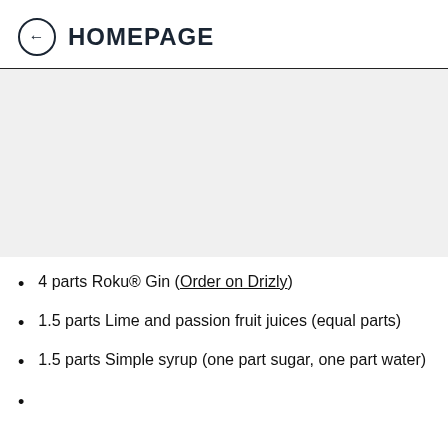HOMEPAGE
[Figure (other): Large light gray rectangular placeholder image area]
4 parts Roku® Gin (Order on Drizly)
1.5 parts Lime and passion fruit juices (equal parts)
1.5 parts Simple syrup (one part sugar, one part water)
1 part ...